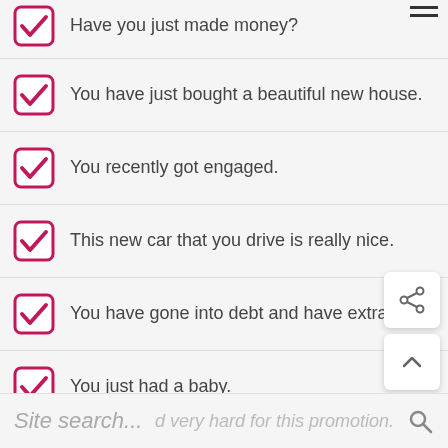Have you just made money?
You have just bought a beautiful new house.
You recently got engaged.
This new car that you drive is really nice.
You have gone into debt and have extra money.
You just had a baby.
Site search... worked very hard for this promotion.